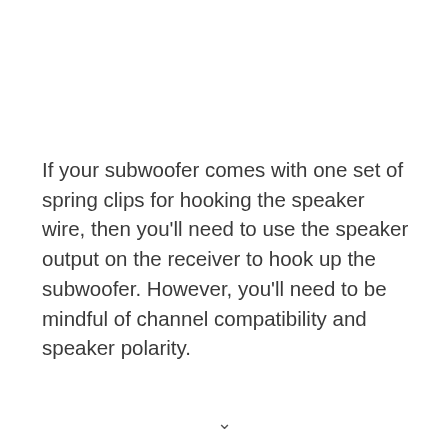If your subwoofer comes with one set of spring clips for hooking the speaker wire, then you'll need to use the speaker output on the receiver to hook up the subwoofer. However, you'll need to be mindful of channel compatibility and speaker polarity.